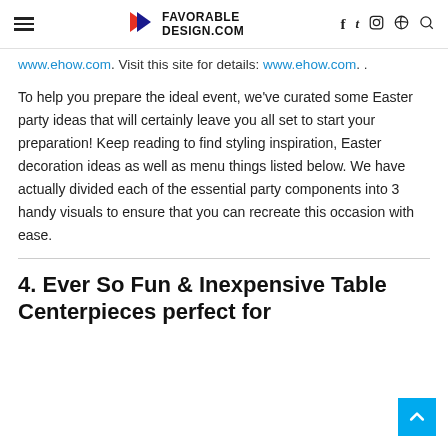FAVORABLE DESIGN.COM — navigation bar with hamburger menu, logo, and icons (f, twitter, instagram, pinterest, search)
www.ehow.com. Visit this site for details: www.ehow.com. .
To help you prepare the ideal event, we've curated some Easter party ideas that will certainly leave you all set to start your preparation! Keep reading to find styling inspiration, Easter decoration ideas as well as menu things listed below. We have actually divided each of the essential party components into 3 handy visuals to ensure that you can recreate this occasion with ease.
4. Ever So Fun & Inexpensive Table Centerpieces perfect for